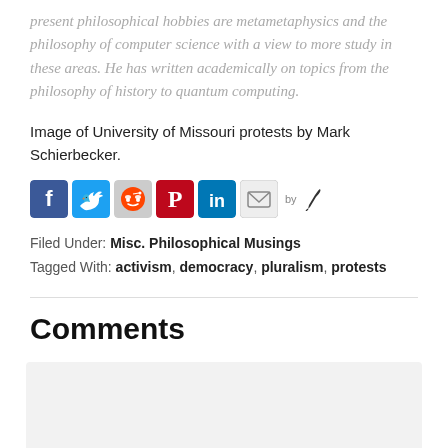present philosophical hobbies are metametaphysics and the philosophy of computer science with a view to more study in these areas. He has written academically on topics from the philosophy of history to quantum computing.
Image of University of Missouri protests by Mark Schierbecker.
[Figure (other): Social sharing icons: Facebook, Twitter, Reddit, Pinterest, LinkedIn, Email, and a feather/pen icon with 'by' label]
Filed Under: Misc. Philosophical Musings
Tagged With: activism, democracy, pluralism, protests
Comments
Jon says